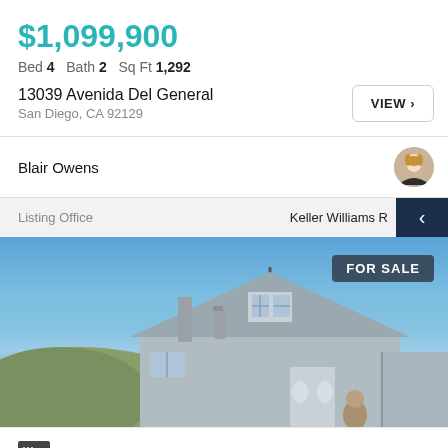$1,099,900
Bed 4   Bath 2   Sq Ft 1,292
13039 Avenida Del General
San Diego, CA 92129
VIEW >
Blair Owens
Listing Office   Keller Williams R
[Figure (photo): Exterior photo of a single-story house for sale with blue sky background, showing roof and front entrance with a FOR SALE badge overlay]
VIEW DESIGNS